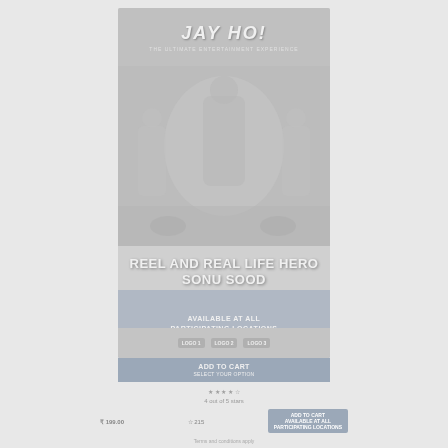[Figure (illustration): A faded movie/entertainment poster for 'JAY HO!' (Reel and Real Life Hero), shown in a card layout with blue-grey bottom banner. Below the poster are price/rating/button elements. The poster features large bold text overlaid on a crowd/figure image.]
JAY HO!
REEL AND REAL LIFE HERO SONU SOOD
AVAILABLE AT ALL PARTICIPATING LOCATIONS
ADD TO CART